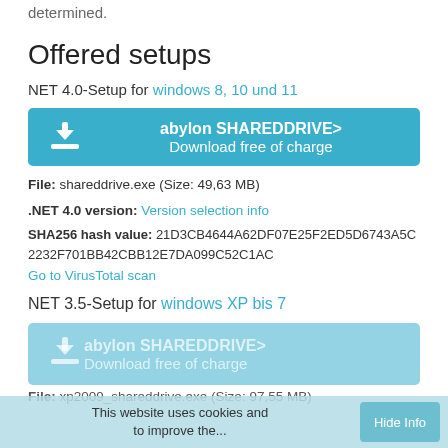determined.
Offered setups
NET 4.0-Setup for windows 8, 10 und 11
[Figure (other): Download button: abylon SHAREDDRIVE> / Download free of charge]
File: shareddrive.exe (Size: 49,63 MB)
.NET 4.0 version: Version selection info
SHA256 hash value: 21D3CB4644A62DF07E25F2ED5D6743A5C2232F701BB42CBB12E7DA099C52C1AC
Go to VirusTotal scan
NET 3.5-Setup for windows XP bis 7
[Figure (other): Download button (faded): abylon SHAREDDRIVE> / Download free of charge]
File: xp2009_shareddrive.exe (Size: 97,55 MB)
This website uses cookies and to improve the...